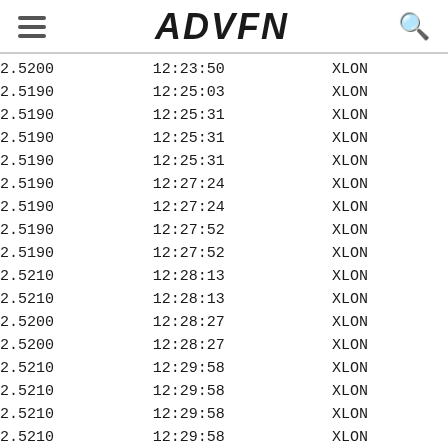ADVFN
| Price | Time | Exchange |
| --- | --- | --- |
| 2.5200 | 12:23:50 | XLON |
| 2.5190 | 12:25:03 | XLON |
| 2.5190 | 12:25:31 | XLON |
| 2.5190 | 12:25:31 | XLON |
| 2.5190 | 12:25:31 | XLON |
| 2.5190 | 12:27:24 | XLON |
| 2.5190 | 12:27:24 | XLON |
| 2.5190 | 12:27:52 | XLON |
| 2.5190 | 12:27:52 | XLON |
| 2.5210 | 12:28:13 | XLON |
| 2.5210 | 12:28:13 | XLON |
| 2.5200 | 12:28:27 | XLON |
| 2.5200 | 12:28:27 | XLON |
| 2.5210 | 12:29:58 | XLON |
| 2.5210 | 12:29:58 | XLON |
| 2.5210 | 12:29:58 | XLON |
| 2.5210 | 12:29:58 | XLON |
| 2.5230 | 12:31:01 | XLON |